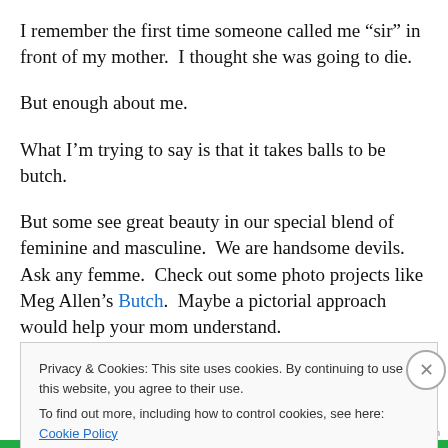I remember the first time someone called me “sir” in front of my mother.  I thought she was going to die.
But enough about me.
What I’m trying to say is that it takes balls to be butch.
But some see great beauty in our special blend of feminine and masculine.  We are handsome devils.  Ask any femme.  Check out some photo projects like Meg Allen’s Butch.  Maybe a pictorial approach would help your mom understand.
Privacy & Cookies: This site uses cookies. By continuing to use this website, you agree to their use.
To find out more, including how to control cookies, see here: Cookie Policy
Close and accept